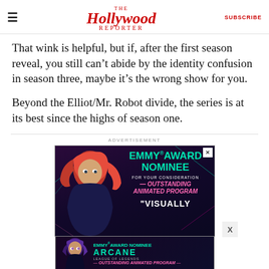The Hollywood Reporter | SUBSCRIBE
That wink is helpful, but if, after the first season reveal, you still can’t abide by the identity confusion in season three, maybe it’s the wrong show for you.
Beyond the Elliot/Mr. Robot divide, the series is at its best since the highs of season one.
[Figure (illustration): Advertisement banner for Emmy Award Nominee animated program featuring anime-style characters from League of Legends: Arcane, with text: EMMY AWARD NOMINEE FOR YOUR CONSIDERATION OUTSTANDING ANIMATED PROGRAM and a bottom bar reading ARCANE - OUTSTANDING ANIMATED PROGRAM]